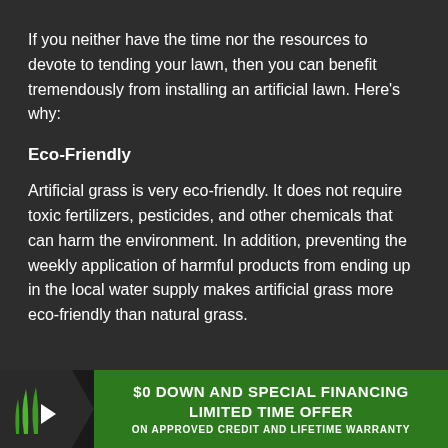If you neither have the time nor the resources to devote to tending your lawn, then you can benefit tremendously from installing an artificial lawn. Here's why:
Eco-Friendly
Artificial grass is very eco-friendly. It does not require toxic fertilizers, pesticides, and other chemicals that can harm the environment. In addition, preventing the weekly application of harmful products from ending up in the local water supply makes artificial grass more eco-friendly than natural grass.
[Figure (logo): Green artificial grass logo with white arrow and green banner advertising $0 down and special financing, limited time offer, on approved credit and lifetime warranty]